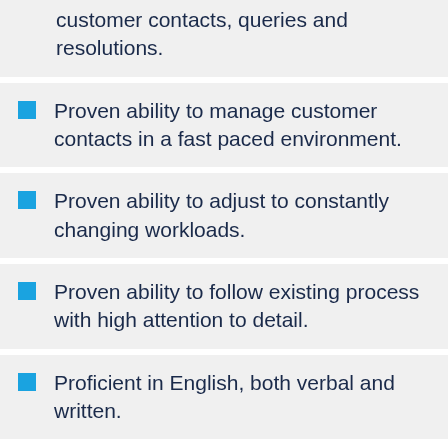customer contacts, queries and resolutions.
Proven ability to manage customer contacts in a fast paced environment.
Proven ability to adjust to constantly changing workloads.
Proven ability to follow existing process with high attention to detail.
Proficient in English, both verbal and written.